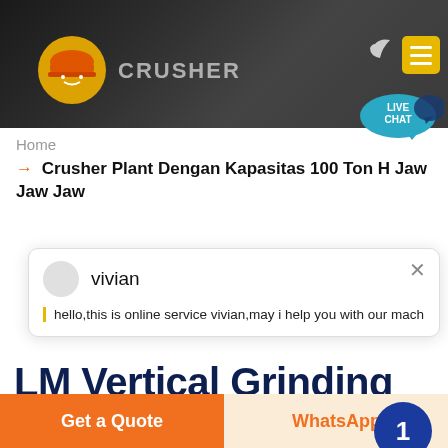[Figure (screenshot): Website header with dark background showing a crusher/mining equipment site logo (orange hard hat icon) and brand text 'CRUSHER', with moon icon and yellow menu button on the right]
LIVE CHAT
Home
→ Crusher Plant Dengan Kapasitas 100 Ton H Jaw Jaw Jaw
vivian
hello,this is online service vivian,may i help you with our mach
LM Vertical Grinding Mill
We have successively launched vertical mill products independent intellectual property rights. Product Feature
Get a Quote
WhatsApp